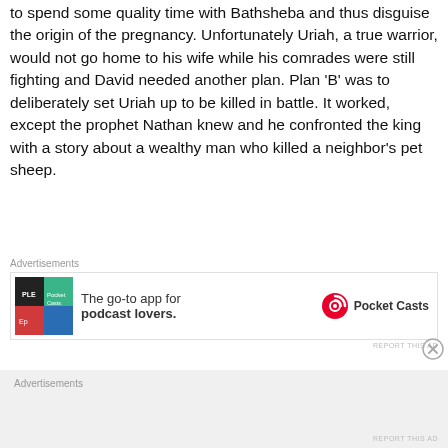to spend some quality time with Bathsheba and thus disguise the origin of the pregnancy. Unfortunately Uriah, a true warrior, would not go home to his wife while his comrades were still fighting and David needed another plan. Plan 'B' was to deliberately set Uriah up to be killed in battle. It worked, except the prophet Nathan knew and he confronted the king with a story about a wealthy man who killed a neighbor's pet sheep.
[Figure (other): Advertisement banner for Pocket Casts app: 'The go-to app for podcast lovers.' with Pocket Casts logo]
[Figure (other): Second advertisement block area (gray background)]